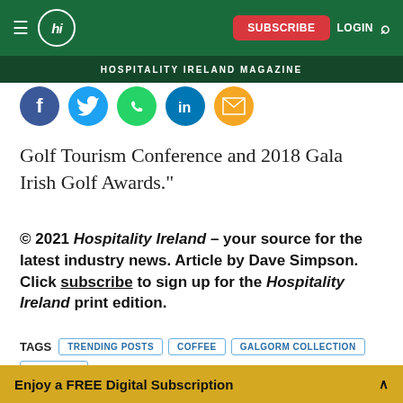hi | HOSPITALITY IRELAND MAGAZINE | SUBSCRIBE | LOGIN
[Figure (infographic): Social media share icons row: Facebook (blue), Twitter (light blue), WhatsApp (green), LinkedIn (blue), Email (orange)]
Golf Tourism Conference and 2018 Gala Irish Golf Awards."
© 2021 Hospitality Ireland – your source for the latest industry news. Article by Dave Simpson. Click subscribe to sign up for the Hospitality Ireland print edition.
TAGS  TRENDING POSTS  COFFEE  GALGORM COLLECTION  GALGORM
Enjoy a FREE Digital Subscription